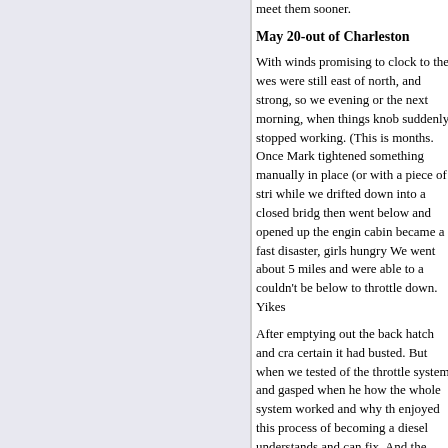meet them sooner.
May 20-out of Charleston
With winds promising to clock to the west, were still east of north, and strong, so we evening or the next morning, when things knob suddenly stopped working. (This is months. Once Mark tightened something manually in place (or with a piece of stri while we drifted down into a closed brid then went below and opened up the engi cabin became a fast disaster, girls hungry We went about 5 miles and were able to couldn't be below to throttle down. Yikes
After emptying out the back hatch and cr certain it had busted. But when we tested of the throttle system and gasped when h how the whole system worked and why t enjoyed this process of becoming a diese understands and can fix. And the throttle
Mark put the engine, the cabin, and the b to another inlet by sunset was now out of beautiful secluded anchorage.
May 21-more, more ICW
Now with a landfall beyond Cape Fear o midafternoon. We set out at noon and mo southwest-the gradient winds-hit us...